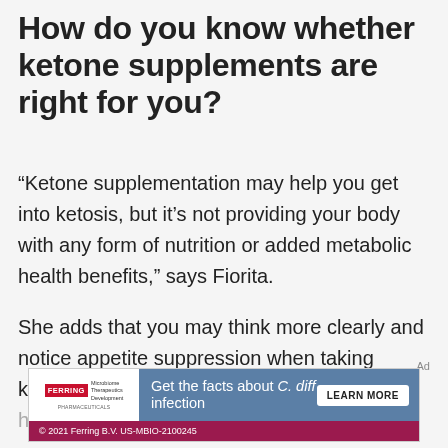How do you know whether ketone supplements are right for you?
“Ketone supplementation may help you get into ketosis, but it’s not providing your body with any form of nutrition or added metabolic health benefits,” says Fiorita.
She adds that you may think more clearly and notice appetite suppression when taking ketone supplements, but they don’t actually help your
Ad
[Figure (other): Ferring Pharmaceuticals advertisement banner: 'Get the facts about C. diff infection' with LEARN MORE button. Bottom bar reads: © 2021 Ferring B.V. US-MBIO-2100245]